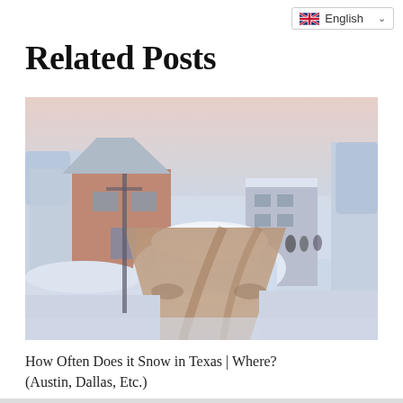English
Related Posts
[Figure (photo): A snow-covered residential street with a car buried in snow in the foreground, houses and trees blanketed in heavy snow on both sides, and a wet road leading into the distance. The sky has a pinkish-blue winter hue.]
How Often Does it Snow in Texas | Where? (Austin, Dallas, Etc.)